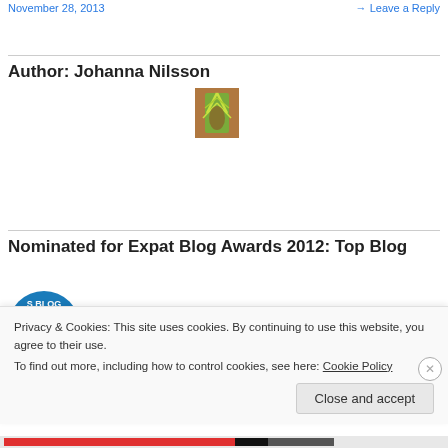November 28, 2013   Leave a Reply
Author: Johanna Nilsson
[Figure (photo): A small photo showing what appears to be a green plant or insect held in a hand, with brown/orange tones]
Nominated for Expat Blog Awards 2012: Top Blog
[Figure (logo): Partial blue circular logo for Expat Blog Awards]
Privacy & Cookies: This site uses cookies. By continuing to use this website, you agree to their use.
To find out more, including how to control cookies, see here: Cookie Policy
Close and accept